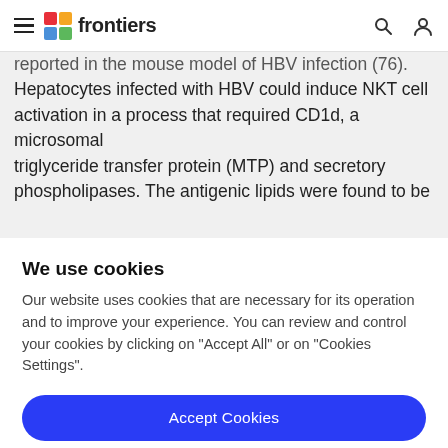frontiers
reported in the mouse model of HBV infection (76). Hepatocytes infected with HBV could induce NKT cell activation in a process that required CD1d, a microsomal triglyceride transfer protein (MTP) and secretory phospholipases. The antigenic lipids were found to be
We use cookies
Our website uses cookies that are necessary for its operation and to improve your experience. You can review and control your cookies by clicking on "Accept All" or on "Cookies Settings".
Accept Cookies
Cookies Settings